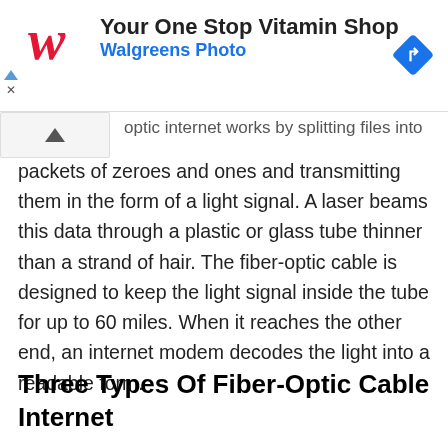[Figure (screenshot): Advertisement banner for Walgreens Photo with red W logo, text 'Your One Stop Vitamin Shop' and 'Walgreens Photo', and a blue diamond navigation icon on the right]
optic internet works by splitting files into packets of zeroes and ones and transmitting them in the form of a light signal. A laser beams this data through a plastic or glass tube thinner than a strand of hair. The fiber-optic cable is designed to keep the light signal inside the tube for up to 60 miles. When it reaches the other end, an internet modem decodes the light into a readable form.
Three Types Of Fiber-Optic Cable Internet